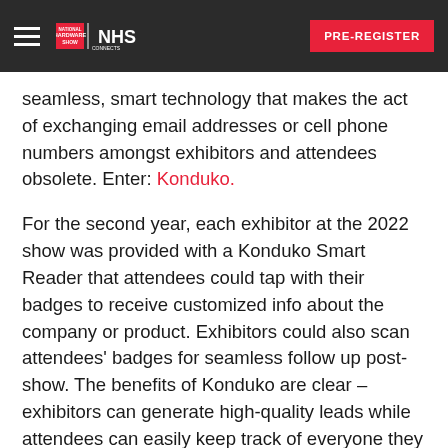National Hardware Show | NHS Connects | PRE-REGISTER
seamless, smart technology that makes the act of exchanging email addresses or cell phone numbers amongst exhibitors and attendees obsolete. Enter: Konduko.
For the second year, each exhibitor at the 2022 show was provided with a Konduko Smart Reader that attendees could tap with their badges to receive customized info about the company or product. Exhibitors could also scan attendees' badges for seamless follow up post-show. The benefits of Konduko are clear – exhibitors can generate high-quality leads while attendees can easily keep track of everyone they connected with during the Show. So how did this technology fare at the April 2022 edition?